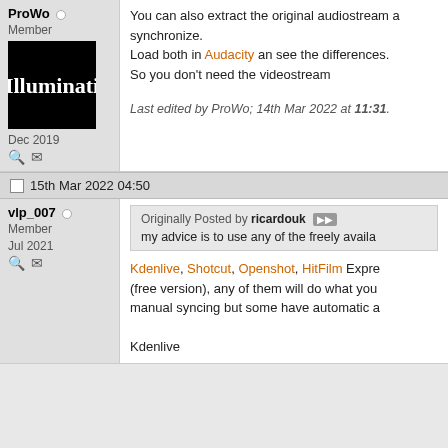ProWo [member] Dec 2019
You can also extract the original audiostream an synchronize.
Load both in Audacity an see the differences.
So you don't need the videostream
Last edited by ProWo; 14th Mar 2022 at 11:31.
15th Mar 2022 04:50
vlp_007 [member] Jul 2021
Originally Posted by ricardouk
my advice is to use any of the freely availa...
Kdenlive, Shotcut, Openshot, HitFilm Expre... (free version), any of them will do what you... manual syncing but some have automatic a...
Kdenlive